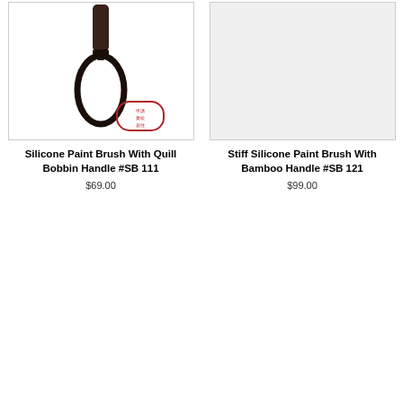[Figure (photo): Silicone paint brush with quill bobbin handle showing a loop/teardrop shaped brush head, with a red Chinese stamp/seal in the lower right corner]
Silicone Paint Brush With Quill Bobbin Handle #SB 111
$69.00
[Figure (photo): Light gray/white rectangular placeholder image for Stiff Silicone Paint Brush With Bamboo Handle]
Stiff Silicone Paint Brush With Bamboo Handle #SB 121
$99.00